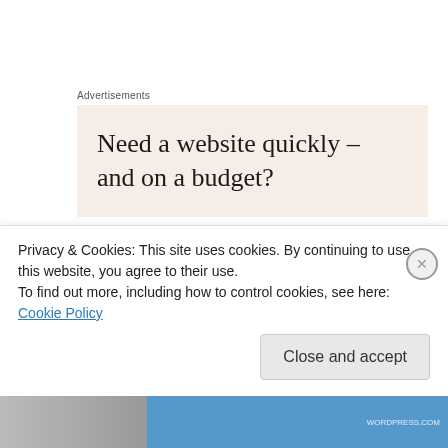Advertisements
[Figure (other): Advertisement banner with beige background reading: Need a website quickly – and on a budget?]
cocomino on March 16, 2013 at 6:52 am
They are wonderful shots.
The salmon burger is also my favorite. 🙂
Privacy & Cookies: This site uses cookies. By continuing to use this website, you agree to their use.
To find out more, including how to control cookies, see here: Cookie Policy
Close and accept